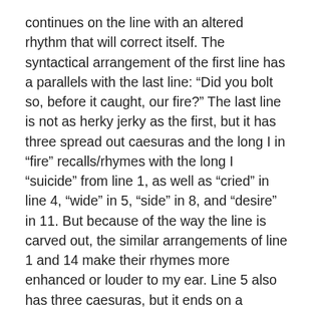continues on the line with an altered rhythm that will correct itself. The syntactical arrangement of the first line has a parallels with the last line: “Did you bolt so, before it caught, our fire?” The last line is not as herky jerky as the first, but it has three spread out caesuras and the long I in “fire” recalls/rhymes with the long I “suicide” from line 1, as well as “cried” in line 4, “wide” in 5, “side” in 8, and “desire” in 11. But because of the way the line is carved out, the similar arrangements of line 1 and 14 make their rhymes more enhanced or louder to my ear. Line 5 also has three caesuras, but it ends on a spondee.
The more I read, the more I hear a longer rhythm from these caesuras or the stress that comes after. It’s almost like there’s a time unit before a caesura is entered. For instance, it’s like’s he hearing a pause everything 2 or 3 seconds, and when that moment arrives, it’s time for a